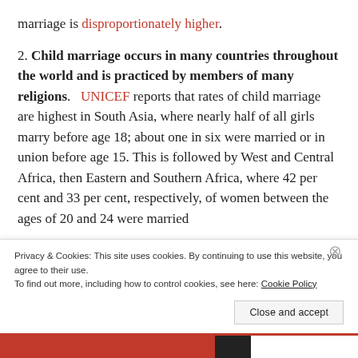marriage is disproportionately higher.
2. Child marriage occurs in many countries throughout the world and is practiced by members of many religions.
UNICEF reports that rates of child marriage are highest in South Asia, where nearly half of all girls marry before age 18; about one in six were married or in union before age 15. This is followed by West and Central Africa, then Eastern and Southern Africa, where 42 per cent and 33 per cent, respectively, of women between the ages of 20 and 24 were married
Privacy & Cookies: This site uses cookies. By continuing to use this website, you agree to their use. To find out more, including how to control cookies, see here: Cookie Policy
Close and accept